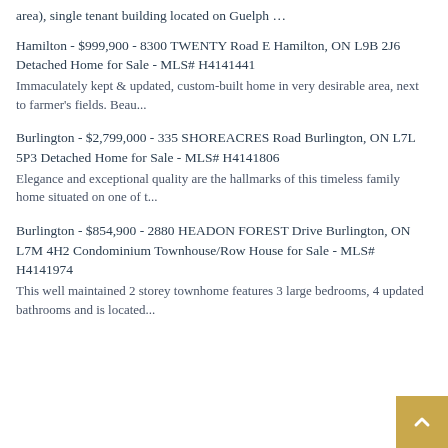area), single tenant building located on Guelph …
Hamilton - $999,900 - 8300 TWENTY Road E Hamilton, ON L9B 2J6 Detached Home for Sale - MLS# H4141441
Immaculately kept & updated, custom-built home in very desirable area, next to farmer's fields. Beau...
Burlington - $2,799,000 - 335 SHOREACRES Road Burlington, ON L7L 5P3 Detached Home for Sale - MLS# H4141806
Elegance and exceptional quality are the hallmarks of this timeless family home situated on one of t...
Burlington - $854,900 - 2880 HEADON FOREST Drive Burlington, ON L7M 4H2 Condominium Townhouse/Row House for Sale - MLS# H4141974
This well maintained 2 storey townhome features 3 large bedrooms, 4 updated bathrooms and is located...